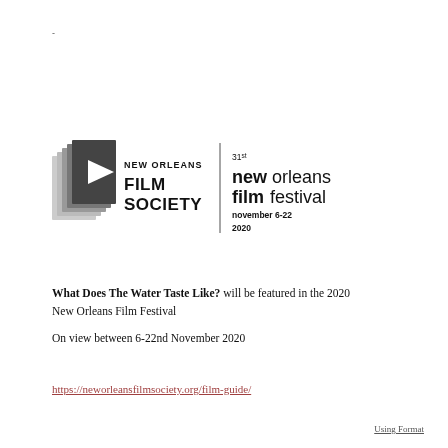-
[Figure (logo): New Orleans Film Society logo with stacked film-frame icon on left, text 'NEW ORLEANS FILM SOCIETY' on right; vertical divider line; then '31st new orleans film festival november 6-22 2020' text block]
What Does The Water Taste Like? will be featured in the 2020 New Orleans Film Festival
On view between 6-22nd November 2020
https://neworleansfilmsociety.org/film-guide/
Using Format